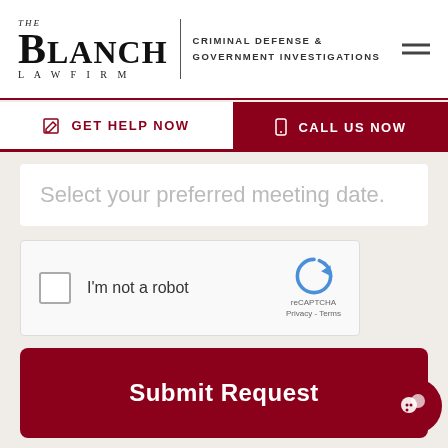[Figure (logo): The Blanch Law Firm logo with text 'CRIMINAL DEFENSE & GOVERNMENT INVESTIGATIONS']
GET HELP NOW
CALL US NOW
Select your preferred meeting date.
[Figure (other): reCAPTCHA widget with checkbox labeled 'I'm not a robot']
Submit Request